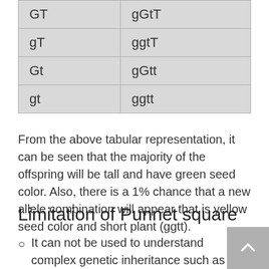| GT | gGtT |
| gT | ggtT |
| Gt | gGtt |
| gt | ggtt |
From the above tabular representation, it can be seen that the majority of the offspring will be tall and have green seed color. Also, there is a 1% chance that a new allele combination will appear that is yellow seed color and short plant (ggtt).
Limitation of Punnet square
It can not be used to understand complex genetic inheritance such as